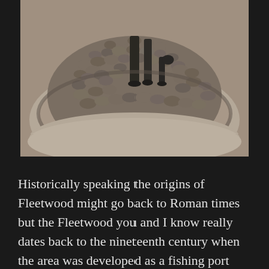[Figure (photo): Close-up photograph of the base of a bronze statue showing the legs of a human figure and a dog, standing on a circular cobblestone plinth set into a larger round stone platform. The cobblestones are rounded river pebbles of various sizes and muted earth tones.]
Historically speaking the origins of Fleetwood might go back to Roman times but the Fleetwood you and I know really dates back to the nineteenth century when the area was developed as a fishing port and seaport.